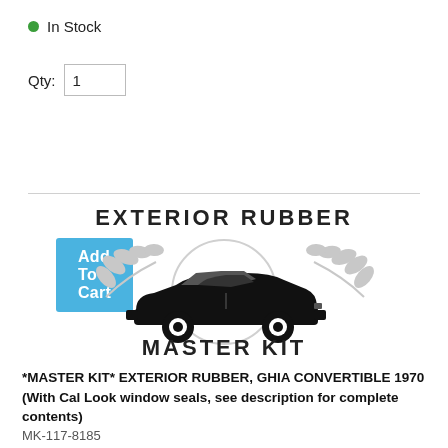● In Stock
Qty: 1
Add To Cart
[Figure (logo): Exterior Rubber Master Kit logo with a convertible car silhouette and laurel wreath, text reading EXTERIOR RUBBER above and MASTER KIT below]
*MASTER KIT* EXTERIOR RUBBER, GHIA CONVERTIBLE 1970 (With Cal Look window seals, see description for complete contents)
MK-117-8185